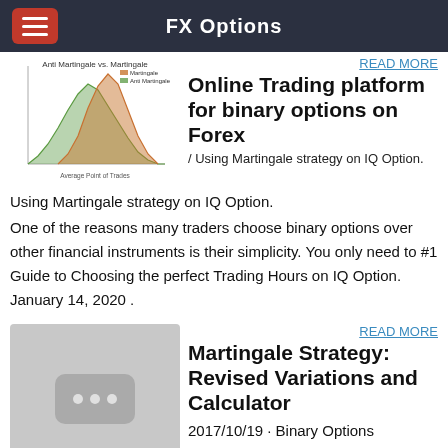FX Options
[Figure (other): Chart titled 'Anti Martingale vs. Martingale' showing overlapping area/histogram distributions in green and orange colors, with legend and x-axis label 'Average Point of Trades']
READ MORE
Online Trading platform for binary options on Forex
/ Using Martingale strategy on IQ Option.
Using Martingale strategy on IQ Option.
One of the reasons many traders choose binary options over other financial instruments is their simplicity. You only need to #1 Guide to Choosing the perfect Trading Hours on IQ Option. January 14, 2020 .
[Figure (photo): Grey placeholder image with three dots icon]
READ MORE
Martingale Strategy: Revised Variations and Calculator
2017/10/19 · Binary Options Martingale Strategy. I already went through a little bit of the martingale strategy in the binary options systems article, but now I thought I would go into it in more detail. I will reveal how
but now I thought I would go into it in more detail. I will reveal how